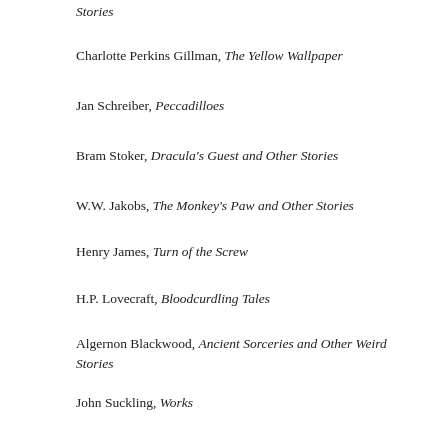Stories
Charlotte Perkins Gillman, The Yellow Wallpaper
Jan Schreiber, Peccadilloes
Bram Stoker, Dracula's Guest and Other Stories
W.W. Jakobs, The Monkey's Paw and Other Stories
Henry James, Turn of the Screw
H.P. Lovecraft, Bloodcurdling Tales
Algernon Blackwood, Ancient Sorceries and Other Weird Stories
John Suckling, Works
Ambrose Bierce, Tales of Soldiers and Civilians
Washington Irving, History, Tales, and Sketches